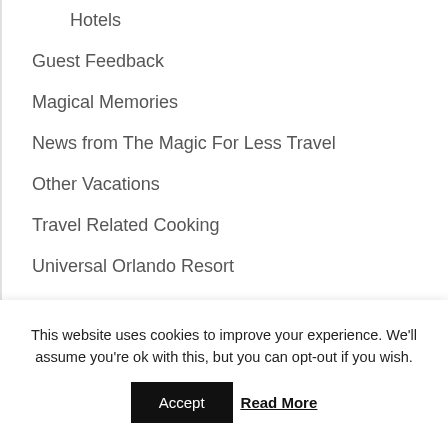Hotels
Guest Feedback
Magical Memories
News from The Magic For Less Travel
Other Vacations
Travel Related Cooking
Universal Orlando Resort
Universal Dining
Universal On-site Hotels
This website uses cookies to improve your experience. We'll assume you're ok with this, but you can opt-out if you wish.
Accept  Read More